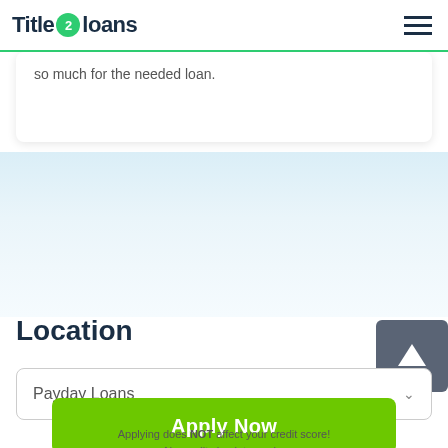Title 2 Loans
so much for the needed loan.
Location
Payday Loans
Apply Now
Applying does NOT affect your credit score! No credit check to apply.